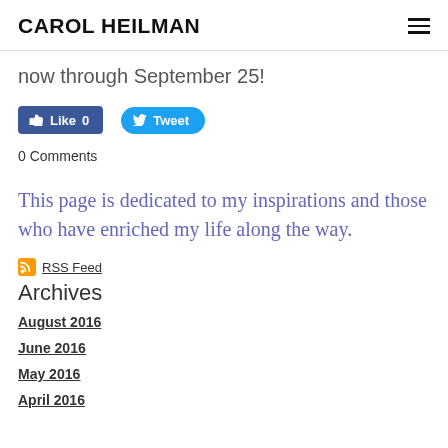CAROL HEILMAN
now through September 25!
[Figure (other): Facebook Like button with count 0 and Twitter Tweet button]
0 Comments
This page is dedicated to my inspirations and those who have enriched my life along the way.
RSS Feed
Archives
August 2016
June 2016
May 2016
April 2016